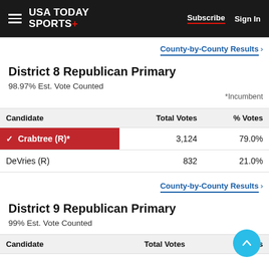USA TODAY SPORTS+  Subscribe  Sign In
County-by-County Results ›
District 8 Republican Primary
98.97% Est. Vote Counted
*Incumbent
| Candidate | Total Votes | % Votes |
| --- | --- | --- |
| ✓ Crabtree (R)* | 3,124 | 79.0% |
| DeVries (R) | 832 | 21.0% |
County-by-County Results ›
District 9 Republican Primary
99% Est. Vote Counted
Candidate   Total Votes   % Votes